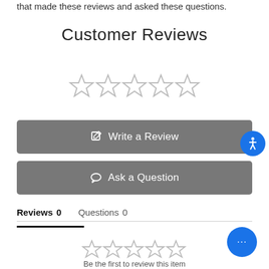that made these reviews and asked these questions.
Customer Reviews
[Figure (other): Five empty star rating icons in a row (top)]
[Figure (other): Write a Review button (gray rounded rectangle with edit icon)]
[Figure (other): Ask a Question button (gray rounded rectangle with speech bubble icon)]
[Figure (other): Blue accessibility badge icon]
Reviews 0   Questions 0
[Figure (other): Five empty star rating icons in a row (bottom, smaller gray)]
Be the first to review this item
[Figure (other): Blue chat bubble with three dots (chat widget)]